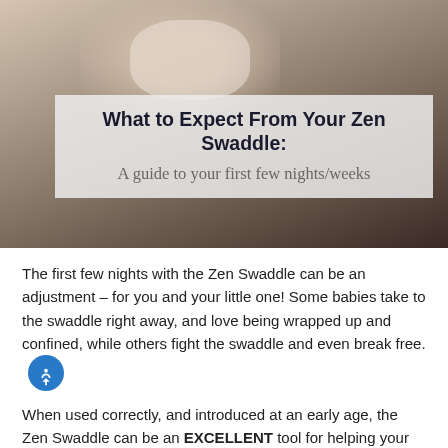[Figure (photo): A person holding a swaddled baby, used as background for article header]
What to Expect From Your Zen Swaddle: A guide to your first few nights/weeks
The first few nights with the Zen Swaddle can be an adjustment – for you and your little one! Some babies take to the swaddle right away, and love being wrapped up and confined, while others fight the swaddle and even break free.
When used correctly, and introduced at an early age, the Zen Swaddle can be an EXCELLENT tool for helping your baby longer and fall asleep quicker. One main benefit of the g technique is that it reduces the startle (Moro) reflex which can cause your baby to frequently wake